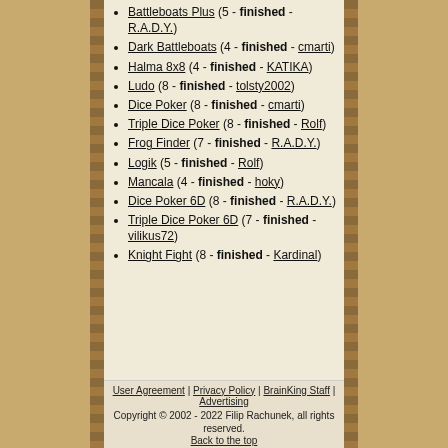Battleboats Plus (5 - finished - R.A.D.Y.)
Dark Battleboats (4 - finished - cmarti)
Halma 8x8 (4 - finished - KATIKA)
Ludo (8 - finished - tolsty2002)
Dice Poker (8 - finished - cmarti)
Triple Dice Poker (8 - finished - Rolf)
Frog Finder (7 - finished - R.A.D.Y.)
Logik (5 - finished - Rolf)
Mancala (4 - finished - hoky)
Dice Poker 6D (8 - finished - R.A.D.Y.)
Triple Dice Poker 6D (7 - finished - vilikus72)
Knight Fight (8 - finished - Kardinal)
User Agreement | Privacy Policy | BrainKing Staff | Advertising
Copyright © 2002 - 2022 Filip Rachunek, all rights reserved.
Back to the top